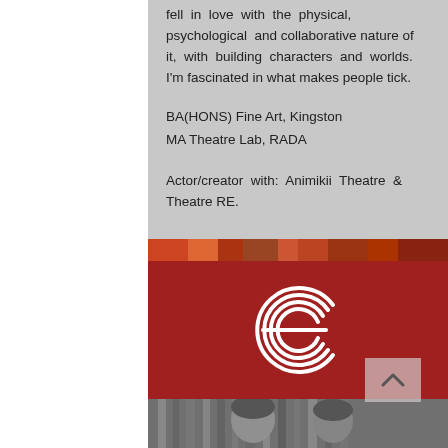fell in love with the physical, psychological and collaborative nature of it, with building characters and worlds. I'm fascinated in what makes people tick.

BA(HONS) Fine Art, Kingston
MA Theatre Lab, RADA

Actor/creator with: Animikii Theatre & Theatre RE.
[Figure (photo): Colorful collage/strip of people in a theatre or performance space]
[Figure (logo): Dark red/crimson background with a stylized white 'e' or crescent logo made of parallel curved lines]
[Figure (photo): Black and white photograph of two people, seemingly in a theatre rehearsal or performance setting]
[Figure (photo): Right strip photo of people standing in a theatre space, a woman in white top and black trousers talking with others]